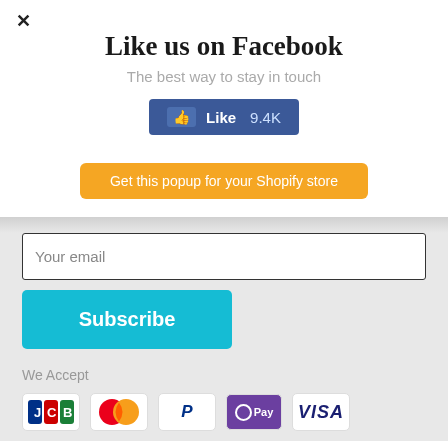✕
Like us on Facebook
The best way to stay in touch
[Figure (other): Facebook Like button with count: Like 9.4K]
[Figure (other): Orange button: Get this popup for your Shopify store]
Your email
Subscribe
We Accept
[Figure (other): Payment icons: JCB, Mastercard, PayPal, OPay, VISA]